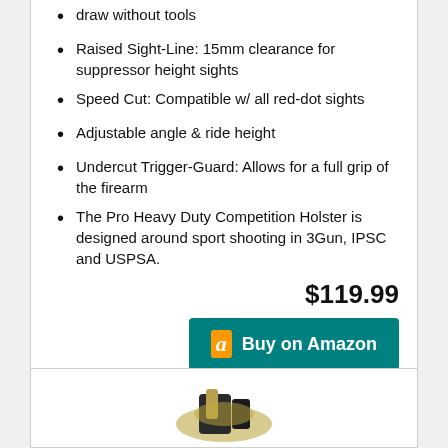draw without tools
Raised Sight-Line: 15mm clearance for suppressor height sights
Speed Cut: Compatible w/ all red-dot sights
Adjustable angle & ride height
Undercut Trigger-Guard: Allows for a full grip of the firearm
The Pro Heavy Duty Competition Holster is designed around sport shooting in 3Gun, IPSC and USPSA.
$119.99
Buy on Amazon
[Figure (photo): Product photo of a holster at bottom of page]